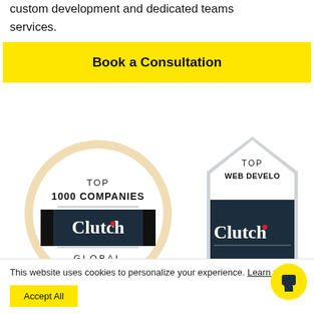custom development and dedicated teams services.
Book a Consultation
[Figure (illustration): Clutch badge: TOP 1000 COMPANIES - Clutch - GLOBAL. Circular badge with beige/tan border, dark navy banner across middle with white Clutch logo text and red dot on the letter t.]
[Figure (illustration): Clutch badge: TOP WEB DEVELO[PERS] - Clutch. Pentagonal/house-shaped badge with dark navy background, Clutch logo partially visible, partially cropped on the right.]
This website uses cookies to personalize your experience. Learn more
Accept All